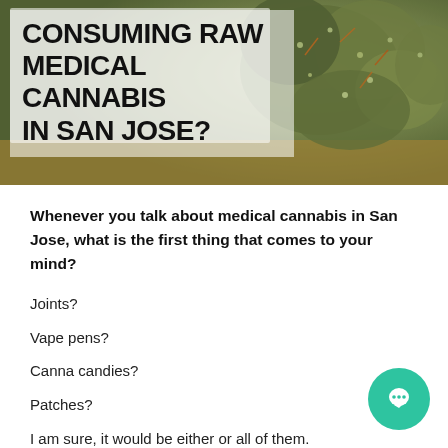[Figure (photo): Hero image of cannabis buds with overlaid semi-transparent white text box showing title text about consuming raw medical cannabis in San Jose]
CONSUMING RAW MEDICAL CANNABIS IN SAN JOSE?
Whenever you talk about medical cannabis in San Jose, what is the first thing that comes to your mind?
Joints?
Vape pens?
Canna candies?
Patches?
I am sure, it would be either or all of them.
But, what if we tell you that consuming raw